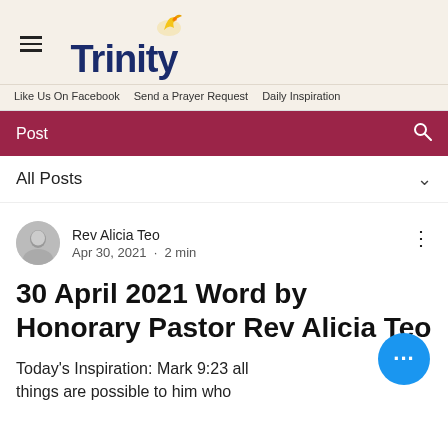Trinity
Like Us On Facebook · Send a Prayer Request · Daily Inspiration
Post
All Posts
Rev Alicia Teo
Apr 30, 2021 · 2 min
30 April 2021 Word by Honorary Pastor Rev Alicia Teo
Today's Inspiration: Mark 9:23 all things are possible to him who